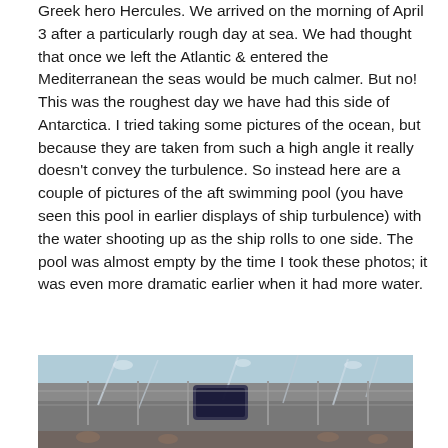Greek hero Hercules.  We arrived on the morning of April 3 after a particularly rough day at sea.  We had thought that once we left the Atlantic & entered the Mediterranean the seas would be much calmer.  But no!  This was the roughest day we have had this side of Antarctica.  I tried taking some pictures of the ocean, but because they are taken from such a high angle it really doesn't convey the turbulence. So instead here are a couple of pictures of the aft swimming pool (you have seen this pool in earlier displays of ship turbulence) with the water shooting up as the ship rolls to one side.  The pool was almost empty by the time I took these photos; it was even more dramatic earlier when it had more water.
[Figure (photo): Photo of the aft swimming pool on a ship deck, showing water splashing and turbulence. The pool area is visible with deck furniture and ship structures in the background.]